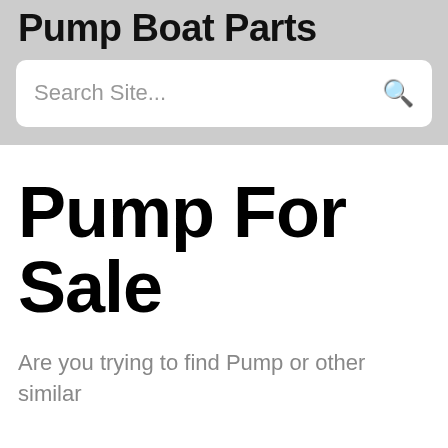Pump Boat Parts
Search Site...
Pump For Sale
Are you trying to find Pump or other similar